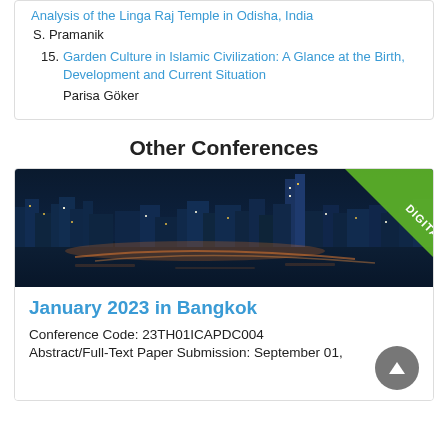Analysis of the Linga Raj Temple in Odisha, India
S. Pramanik
15. Garden Culture in Islamic Civilization: A Glance at the Birth, Development and Current Situation
Parisa Göker
Other Conferences
[Figure (photo): Night aerial view of Bangkok city skyline with buildings, a river, and highways lit up, with a green diagonal 'DIGITAL' badge in the top right corner.]
January 2023 in Bangkok
Conference Code: 23TH01ICAPDC004
Abstract/Full-Text Paper Submission: September 01,